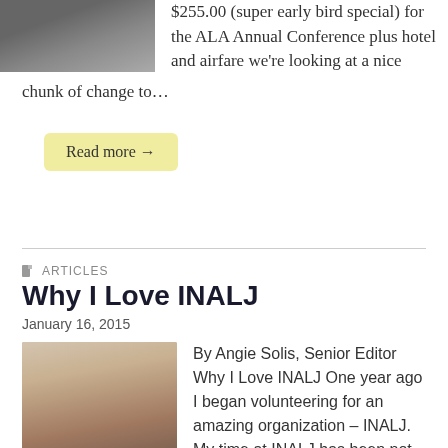[Figure (photo): Photo of a person partially visible at top of page]
$255.00 (super early bird special) for the ALA Annual Conference plus hotel and airfare we're looking at a nice chunk of change to…
Read more →
ARTICLES
Why I Love INALJ
January 16, 2015
[Figure (photo): Photo of a smiling woman wearing a hat, indoors]
By Angie Solis, Senior Editor Why I Love INALJ One year ago I began volunteering for an amazing organization – INALJ.  My time at INALJ has been not only a fulfilling one, but an educational one.  I never thought that I would volunteer for an organization that would allow me to